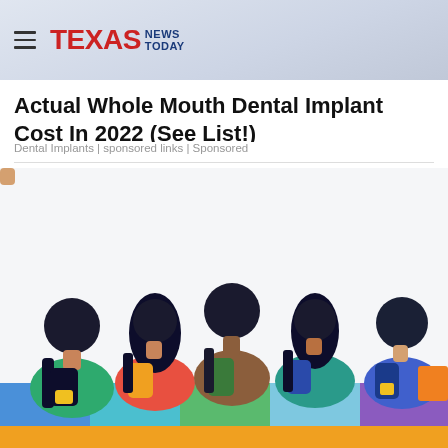TEXAS NEWS TODAY
Actual Whole Mouth Dental Implant Cost In 2022 (See List!)
Dental Implants | sponsored links | Sponsored
[Figure (illustration): Illustration of five people seen from behind, sitting side by side, wearing colorful backpacks. Below them are colored horizontal bands: blue, teal/cyan, green, light blue, and purple. The bottom strip is orange/yellow.]